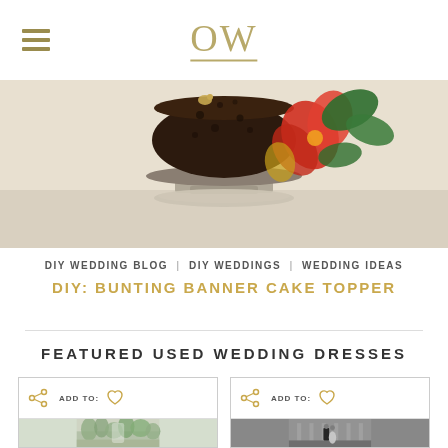OW
[Figure (photo): Dark chocolate wedding cake on a decorative stand with red/orange tropical flowers and green leaves on a light background]
DIY WEDDING BLOG · DIY WEDDINGS · WEDDING IDEAS
DIY: BUNTING BANNER CAKE TOPPER
FEATURED USED WEDDING DRESSES
[Figure (photo): Wedding dress card 1 - ADD TO with share and heart icons, outdoor nature photo below]
[Figure (photo): Wedding dress card 2 - ADD TO with share and heart icons, black and white couple photo below]